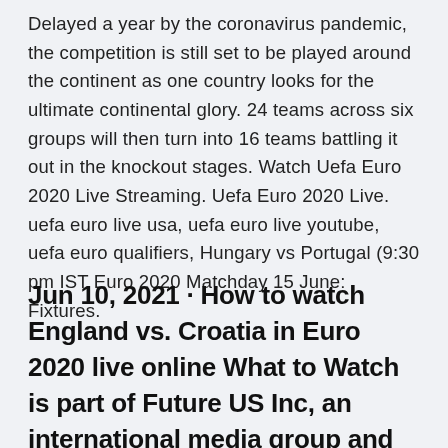Delayed a year by the coronavirus pandemic, the competition is still set to be played around the continent as one country looks for the ultimate continental glory. 24 teams across six groups will then turn into 16 teams battling it out in the knockout stages. Watch Uefa Euro 2020 Live Streaming. Uefa Euro 2020 Live. uefa euro live usa, uefa euro live youtube, uefa euro qualifiers, Hungary vs Portugal (9:30 pm IST Euro 2020 Matchday 15 June: Fixtures.
Jun 10, 2021 · How to watch England vs. Croatia in Euro 2020 live online What to Watch is part of Future US Inc, an international media group and leading digital